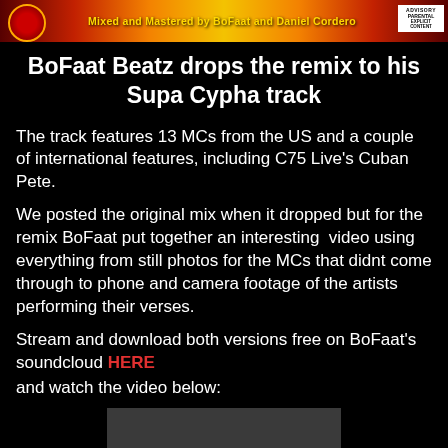[Figure (illustration): Banner image with flame/gradient background, text 'Mixed and Mastered by BoFaat and Daniel Cordero', circular logo on left, and Parental Advisory Explicit Content box on right]
BoFaat Beatz drops the remix to his Supa Cypha track
The track features 13 MCs from the US and a couple of international features, including C75 Live's Cuban Pete.
We posted the original mix when it dropped but for the remix BoFaat put together an interesting  video using everything from still photos for the MCs that didnt come through to phone and camera footage of the artists performing their verses.
Stream and download both versions free on BoFaat's soundcloud HERE
and watch the video below:
[Figure (screenshot): Dark gray video player thumbnail area]